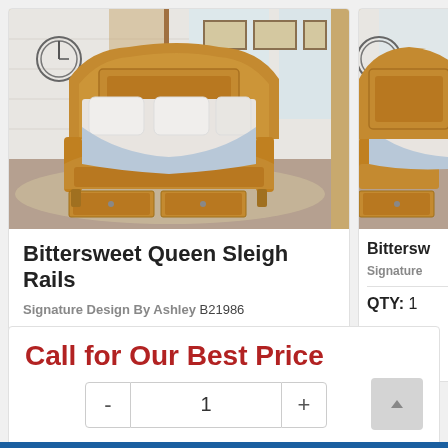[Figure (photo): Photo of Bittersweet Queen Sleigh Rails bed with wooden frame and under-bed storage drawers in a bedroom setting]
Bittersweet Queen Sleigh Rails
Signature Design By Ashley B21986
QTY: 1
[Figure (photo): Partial photo of a second Bittersweet product in a bedroom setting]
Bittersw
Signature
QTY: 1
Call for Our Best Price
- 1 +